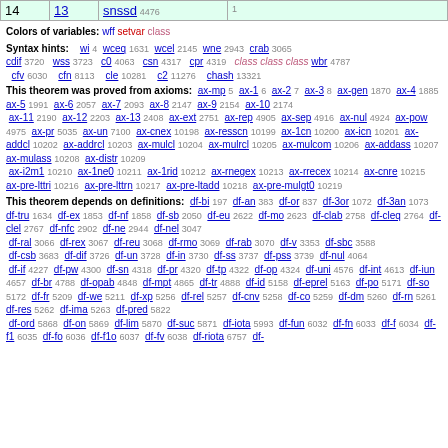| 14 | 13 | snssd 4476 | 1 |
| --- | --- | --- | --- |
Colors of variables: wff setvar class
Syntax hints: wi 4 wceq 1631 wcel 2145 wne 2943 crab 3065 cdif 3720 wss 3723 c0 4063 csn 4317 cpr 4319 class class class wbr 4787 cfv 6030 cfn 8113 cle 10281 c2 11276 chash 13321
This theorem was proved from axioms: ax-mp 5 ax-1 6 ax-2 7 ax-3 8 ax-gen 1870 ax-4 1885 ax-5 1991 ax-6 2057 ax-7 2093 ax-8 2147 ax-9 2154 ax-10 2174 ax-11 2190 ax-12 2203 ax-13 2408 ax-ext 2751 ax-rep 4905 ax-sep 4916 ax-nul 4924 ax-pow 4975 ax-pr 5035 ax-un 7100 ax-cnex 10198 ax-resscn 10199 ax-1cn 10200 ax-icn 10201 ax-addcl 10202 ax-addrcl 10203 ax-mulcl 10204 ax-mulrcl 10205 ax-mulcom 10206 ax-addass 10207 ax-mulass 10208 ax-distr 10209 ax-i2m1 10210 ax-1ne0 10211 ax-1rid 10212 ax-rnegex 10213 ax-rrecex 10214 ax-cnre 10215 ax-pre-lttri 10216 ax-pre-lttrn 10217 ax-pre-ltadd 10218 ax-pre-mulgt0 10219
This theorem depends on definitions: df-bi 197 df-an 383 df-or 837 df-3or 1072 df-3an 1073 df-tru 1634 df-ex 1853 df-nf 1858 df-sb 2050 df-eu 2622 df-mo 2623 df-clab 2758 df-cleq 2764 df-clel 2767 df-nfc 2902 df-ne 2944 df-nel 3047 df-ral 3066 df-rex 3067 df-reu 3068 df-rmo 3069 df-rab 3070 df-v 3353 df-sbc 3588 df-csb 3683 df-dif 3726 df-un 3728 df-in 3730 df-ss 3737 df-pss 3739 df-nul 4064 df-if 4227 df-pw 4300 df-sn 4318 df-pr 4320 df-tp 4322 df-op 4324 df-uni 4576 df-int 4613 df-iun 4657 df-br 4788 df-opab 4848 df-mpt 4865 df-tr 4888 df-id 5158 df-eprel 5163 df-po 5171 df-so 5172 df-fr 5209 df-we 5211 df-xp 5256 df-rel 5257 df-cnv 5258 df-co 5259 df-dm 5260 df-rn 5261 df-res 5262 df-ima 5263 df-pred 5822 df-ord 5868 df-on 5869 df-lim 5870 df-suc 5871 df-iota 5993 df-fun 6032 df-fn 6033 df-f 6034 df-f1 6035 df-fo 6036 df-f1o 6037 df-fv 6038 df-riota 6757 df-